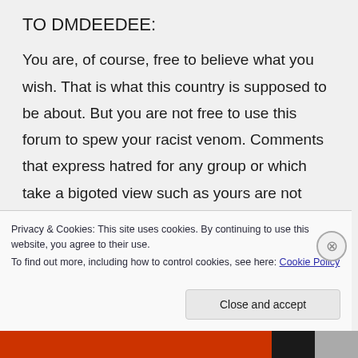TO DMDEEDEE:
You are, of course, free to believe what you wish. That is what this country is supposed to be about. But you are not free to use this forum to spew your racist venom. Comments that express hatred for any group or which take a bigoted view such as yours are not welcome.
Privacy & Cookies: This site uses cookies. By continuing to use this website, you agree to their use.
To find out more, including how to control cookies, see here: Cookie Policy
Close and accept